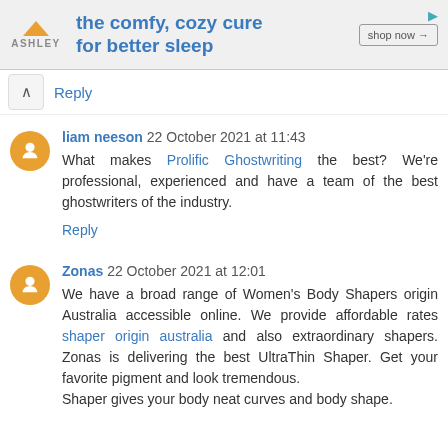[Figure (other): Ashley Furniture advertisement banner: orange house/triangle logo, 'ASHLEY' text, tagline 'the comfy, cozy cure for better sleep', 'shop now ->' button, play arrow icon top right]
Reply
liam neeson 22 October 2021 at 11:43
What makes Prolific Ghostwriting the best? We're professional, experienced and have a team of the best ghostwriters of the industry.
Reply
Zonas 22 October 2021 at 12:01
We have a broad range of Women's Body Shapers origin Australia accessible online. We provide affordable rates shaper origin australia and also extraordinary shapers. Zonas is delivering the best UltraThin Shaper. Get your favorite pigment and look tremendous.
Shaper gives your body neat curves and body shape.